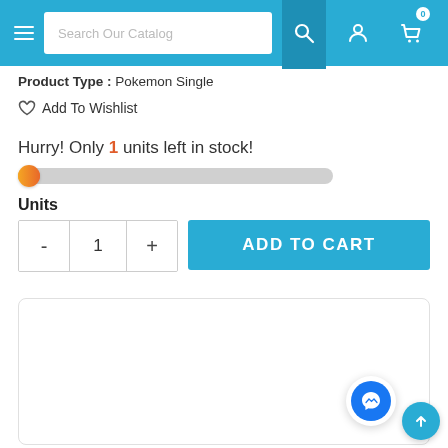[Figure (screenshot): Website navigation header bar with hamburger menu, search input labeled 'Search Our Catalog', search icon button, user account icon, and shopping cart icon with badge '0'. Background is blue (#29acd4).]
Product Type :  Pokemon Single
♡  Add To Wishlist
Hurry! Only 1 units left in stock!
[Figure (infographic): Horizontal progress bar showing very low stock, with an orange circular indicator near the left end on a gray track.]
Units
[Figure (screenshot): Quantity selector with minus button, value '1', plus button, and a blue 'ADD TO CART' button.]
[Figure (screenshot): White rounded card area (product description section, mostly empty). Messenger floating chat button (blue circle with lightning bolt icon). Scroll-to-top button (teal circle with up arrow).]